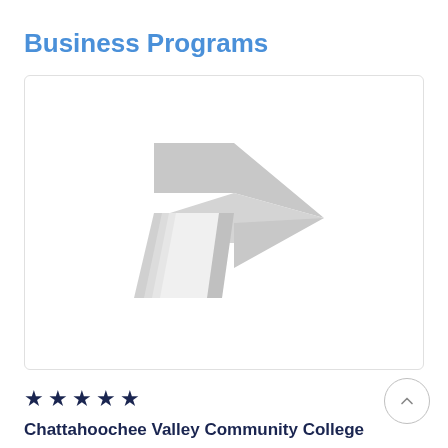Business Programs
[Figure (logo): Chattahoochee Valley Community College logo — a grey stylized arrow/chevron shape pointing right combined with an open book shape, rendered in light grey]
★ ★ ★ ★ ★
Chattahoochee Valley Community College